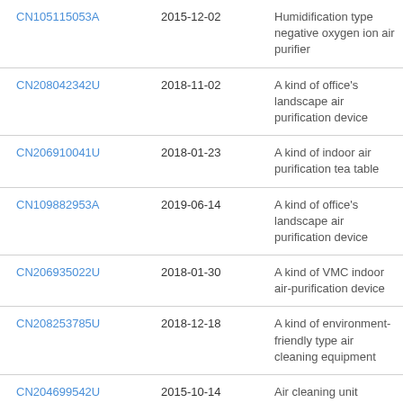| CN105115053A | 2015-12-02 | Humidification type negative oxygen ion air purifier |
| CN208042342U | 2018-11-02 | A kind of office&#39;s landscape air purification device |
| CN206910041U | 2018-01-23 | A kind of indoor air purification tea table |
| CN109882953A | 2019-06-14 | A kind of office&#39;s landscape air purification device |
| CN206935022U | 2018-01-30 | A kind of VMC indoor air-purification device |
| CN208253785U | 2018-12-18 | A kind of environment-friendly type air cleaning equipment |
| CN204699542U | 2015-10-14 | Air cleaning unit |
| CN206890704U | 2018-01-16 | A kind of air purifier |
| CN2034... | 2017-05-16 | A kind of off... |